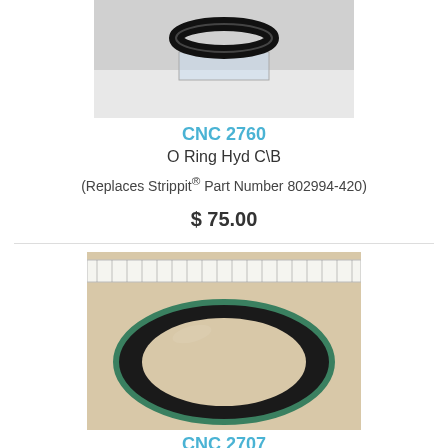[Figure (photo): Photo of an O-ring (black rubber ring) on a clear display stand against a white/grey background]
CNC 2760
O Ring Hyd C\B
(Replaces Strippit® Part Number 802994-420)
$ 75.00
[Figure (photo): Photo of a large black O-ring / seal ring with green edge, with a ruler above it on a beige/tan surface]
CNC 2707